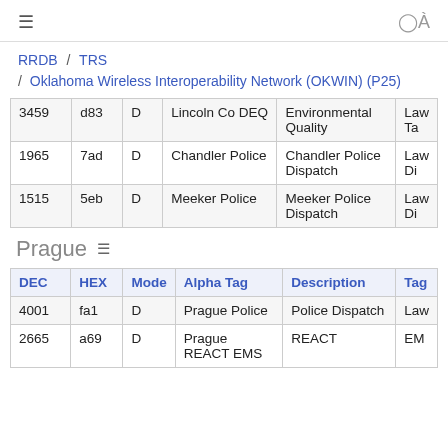≡  (user icon)
RRDB / TRS / Oklahoma Wireless Interoperability Network (OKWIN) (P25)
| DEC | HEX | Mode | Alpha Tag | Description | Tag |
| --- | --- | --- | --- | --- | --- |
| 3459 | d83 | D | Lincoln Co DEQ | Environmental Quality | Law Ta |
| 1965 | 7ad | D | Chandler Police | Chandler Police Dispatch | Law Di |
| 1515 | 5eb | D | Meeker Police | Meeker Police Dispatch | Law Di |
Prague
| DEC | HEX | Mode | Alpha Tag | Description | Tag |
| --- | --- | --- | --- | --- | --- |
| 4001 | fa1 | D | Prague Police | Police Dispatch | Law |
| 2665 | a69 | D | Prague REACT EMS | REACT | EM |